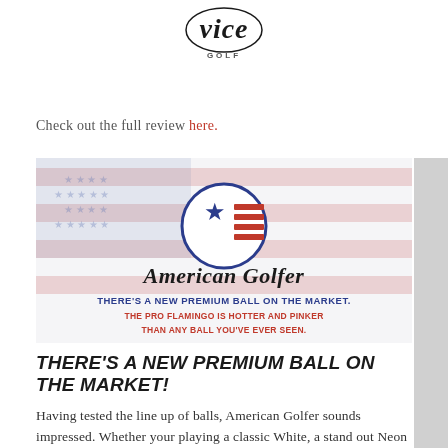[Figure (logo): VICE GOLF logo — stylized script 'vice' over word GOLF in caps]
Check out the full review here.
[Figure (illustration): American Golfer banner image with US flag background showing the American Golfer logo (circle with star and stripes) and text: THERE'S A NEW PREMIUM BALL ON THE MARKET. / THE PRO FLAMINGO IS HOTTER AND PINKER THAN ANY BALL YOU'VE EVER SEEN.]
THERE'S A NEW PREMIUM BALL ON THE MARKET!
Having tested the line up of balls, American Golfer sounds impressed. Whether your playing a classic White, a stand out Neon or a hot Flamingo, you're sure to get noticed firing at pins. Become a trendsetter with a VICE cap and keep on